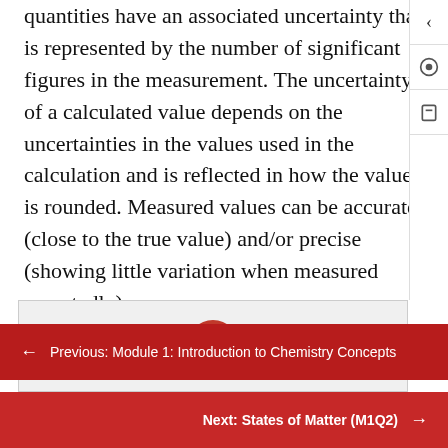quantities have an associated uncertainty that is represented by the number of significant figures in the measurement. The uncertainty of a calculated value depends on the uncertainties in the values used in the calculation and is reflected in how the value is rounded. Measured values can be accurate (close to the true value) and/or precise (showing little variation when measured repeatedly).
[Figure (other): A light gray box with a red circular upload/arrow button in the center pointing upward]
← Previous: Module 1: Introduction to Chemistry Concepts
Next: States of Matter (M1Q2) →